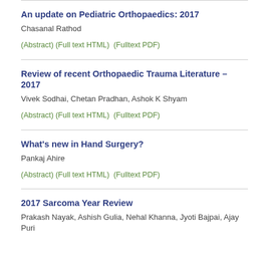An update on Pediatric Orthopaedics: 2017
Chasanal Rathod
(Abstract) (Full text HTML)  (Fulltext PDF)
Review of recent Orthopaedic Trauma Literature – 2017
Vivek Sodhai, Chetan Pradhan, Ashok K Shyam
(Abstract) (Full text HTML)  (Fulltext PDF)
What's new in Hand Surgery?
Pankaj Ahire
(Abstract) (Full text HTML)  (Fulltext PDF)
2017 Sarcoma Year Review
Prakash Nayak, Ashish Gulia, Nehal Khanna, Jyoti Bajpai, Ajay Puri